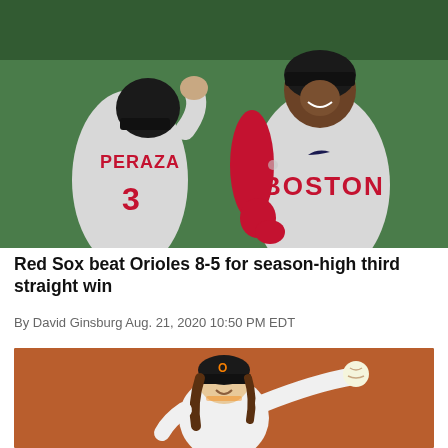[Figure (photo): Two Boston Red Sox players in gray away uniforms celebrating on the baseball field. Player #3 Peraza (back to camera, left) fist-bumping a smiling player in a Boston jersey (right) wearing red batting gloves. Green outfield background.]
Red Sox beat Orioles 8-5 for season-high third straight win
By David Ginsburg Aug. 21, 2020 10:50 PM EDT
[Figure (photo): An Orioles pitcher in a black and orange uniform mid-windmill throwing motion, viewed from the side. Warm orange/red stadium background.]